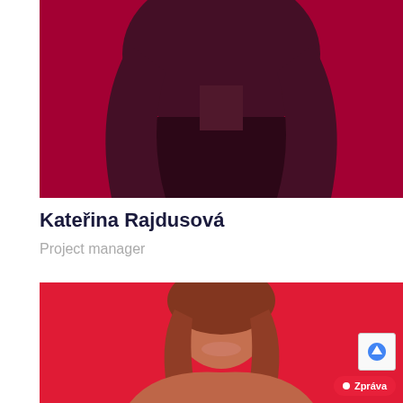[Figure (photo): A woman with long dark hair wearing a black top against a dark red/crimson background — only the lower portion of face/torso visible, top of image cropped]
Kateřina Rajdusová
Project manager
[Figure (photo): A smiling woman with brown hair against a bright red background — lower card profile photo, partially cropped at bottom]